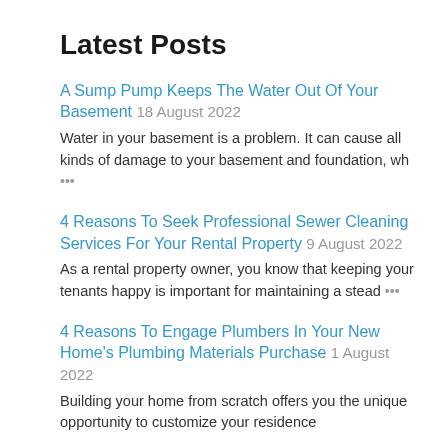Latest Posts
A Sump Pump Keeps The Water Out Of Your Basement 18 August 2022
Water in your basement is a problem. It can cause all kinds of damage to your basement and foundation, wh …
4 Reasons To Seek Professional Sewer Cleaning Services For Your Rental Property 9 August 2022
As a rental property owner, you know that keeping your tenants happy is important for maintaining a stead …
4 Reasons To Engage Plumbers In Your New Home's Plumbing Materials Purchase 1 August 2022
Building your home from scratch offers you the unique opportunity to customize your residence